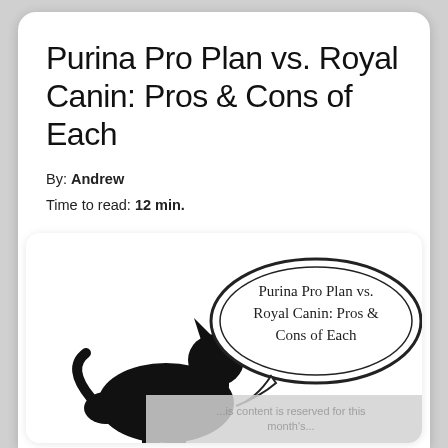Purina Pro Plan vs. Royal Canin: Pros & Cons of Each
By: Andrew
Time to read: 12 min.
[Figure (illustration): A black silhouette of a sitting dog facing right, with a speech bubble containing the text 'Purina Pro Plan vs. Royal Canin: Pros & Cons of Each'. Below the image is a partially visible gray overlay with faded text.]